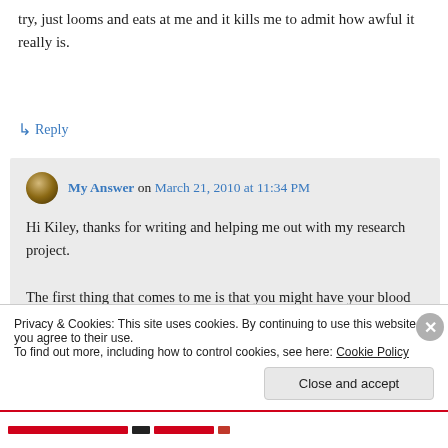try, just looms and eats at me and it kills me to admit how awful it really is.
↳ Reply
My Answer on March 21, 2010 at 11:34 PM
Hi Kiley, thanks for writing and helping me out with my research project.
The first thing that comes to me is that you might have your blood pressure checked.
Privacy & Cookies: This site uses cookies. By continuing to use this website, you agree to their use.
To find out more, including how to control cookies, see here: Cookie Policy
Close and accept